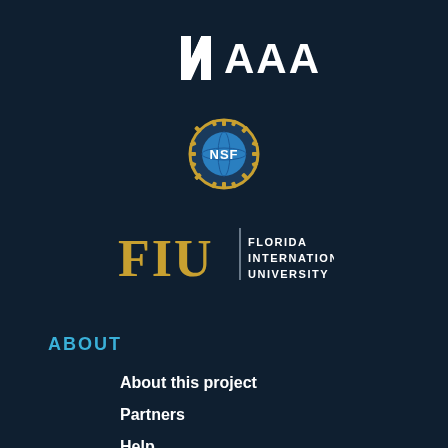[Figure (logo): AAAS logo with stylized angular symbol and text AAAS in white on dark navy background]
[Figure (logo): NSF (National Science Foundation) circular seal with globe and gear border in blue and gold]
[Figure (logo): FIU Florida International University logo with golden FIU letters and white university name text]
ABOUT
About this project
Partners
Help